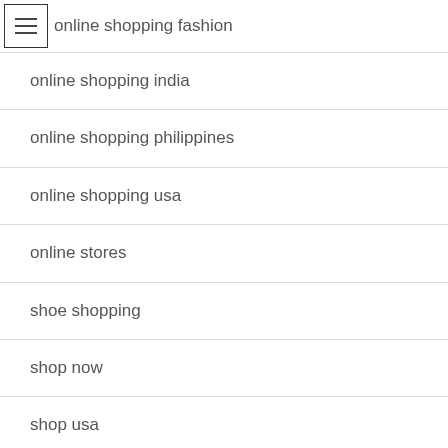online shopping fashion
online shopping india
online shopping philippines
online shopping usa
online stores
shoe shopping
shop now
shop usa
Shopping
women's clothing websites